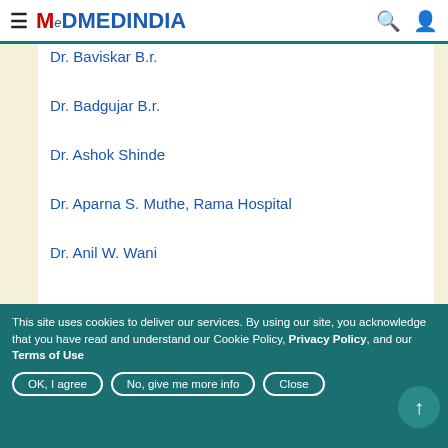MEDINDIA
Dr. Baviskar B.r.
Dr. Badgujar B.r.
Dr. Ashok Shinde
Dr. Aparna S. Muthe, Rama Hospital
Dr. Anil W. Wani
This site uses cookies to deliver our services. By using our site, you acknowledge that you have read and understand our Cookie Policy, Privacy Policy, and our Terms of Use